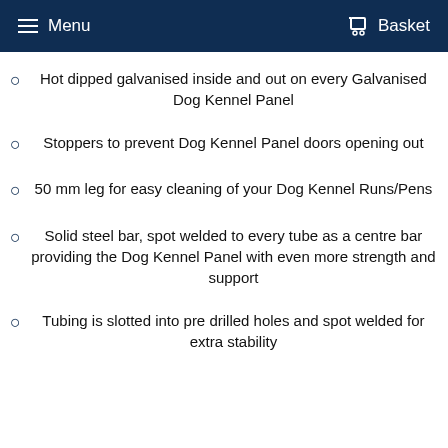Menu   Basket
Hot dipped galvanised inside and out on every Galvanised Dog Kennel Panel
Stoppers to prevent Dog Kennel Panel doors opening out
50 mm leg for easy cleaning of your Dog Kennel Runs/Pens
Solid steel bar, spot welded to every tube as a centre bar providing the Dog Kennel Panel with even more strength and support
Tubing is slotted into pre drilled holes and spot welded for extra stability